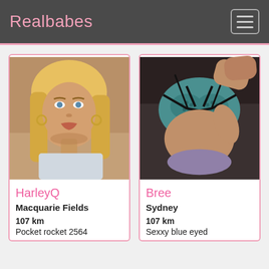Realbabes
[Figure (photo): Photo of HarleyQ, a young woman with blonde hair and hoop earrings, making a pout expression]
HarleyQ
Macquarie Fields
107 km
Pocket rocket 2564
[Figure (photo): Photo of Bree, showing person wearing teal lace lingerie, lying down]
Bree
Sydney
107 km
Sexxy blue eyed